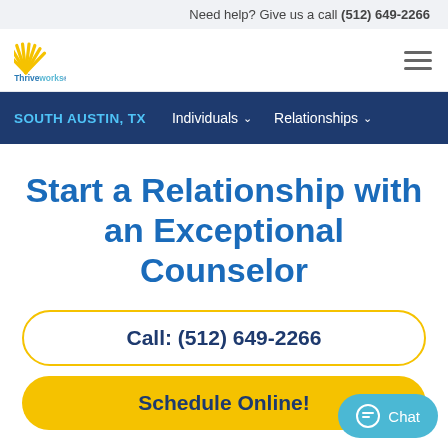Need help? Give us a call (512) 649-2266
[Figure (logo): Thriveworks logo with sun rays icon]
SOUTH AUSTIN, TX   Individuals   Relationships
Start a Relationship with an Exceptional Counselor
Call: (512) 649-2266
Schedule Online!